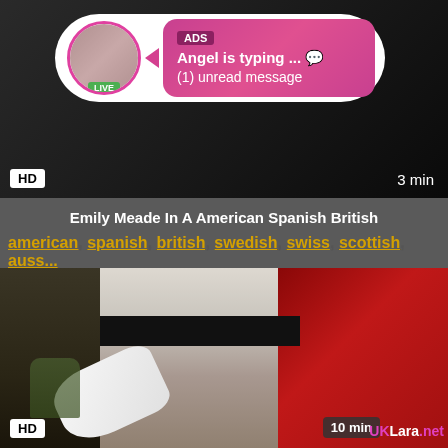[Figure (screenshot): Video thumbnail with ad overlay notification bubble showing avatar with LIVE badge, ADS label, 'Angel is typing ... ' message and '(1) unread message'. HD badge bottom left, '3 min' bottom right.]
Emily Meade In A American Spanish British
american, spanish, british, swedish, swiss, scottish, auss...
[Figure (screenshot): Video thumbnail showing a scene with HD badge bottom left, '10 min' label bottom right, and 'UKLara.net' watermark.]